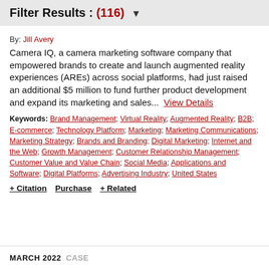Filter Results : (116) ▼
By: Jill Avery
Camera IQ, a camera marketing software company that empowered brands to create and launch augmented reality experiences (AREs) across social platforms, had just raised an additional $5 million to fund further product development and expand its marketing and sales...  View Details
Keywords: Brand Management; Virtual Reality; Augmented Reality; B2B; E-commerce; Technology Platform; Marketing; Marketing Communications; Marketing Strategy; Brands and Branding; Digital Marketing; Internet and the Web; Growth Management; Customer Relationship Management; Customer Value and Value Chain; Social Media; Applications and Software; Digital Platforms; Advertising Industry; United States
+ Citation  Purchase  + Related
MARCH 2022  CASE